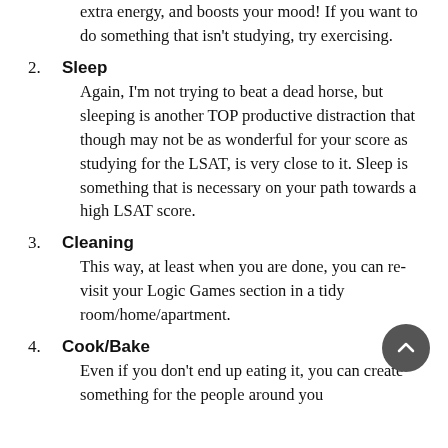extra energy, and boosts your mood! If you want to do something that isn't studying, try exercising.
2. Sleep
Again, I'm not trying to beat a dead horse, but sleeping is another TOP productive distraction that though may not be as wonderful for your score as studying for the LSAT, is very close to it. Sleep is something that is necessary on your path towards a high LSAT score.
3. Cleaning
This way, at least when you are done, you can re-visit your Logic Games section in a tidy room/home/apartment.
4. Cook/Bake
Even if you don't end up eating it, you can create something for the people around you